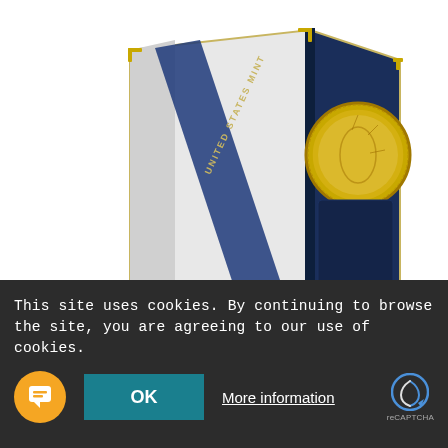[Figure (photo): A 1 oz Proof American Gold Eagle Coin displayed in an open dark navy blue presentation box with gold trim corners, with a gold coin visible on the right panel. The box features a diagonal blue ribbon with 'United States Mint' text.]
1 OZ PROOF AMERICAN GOLD EAGLE COIN (RANDOM YEAR, BOX + COA)
sell to us now for $2,053.77
This site uses cookies. By continuing to browse the site, you are agreeing to our use of cookies.
OK
More information